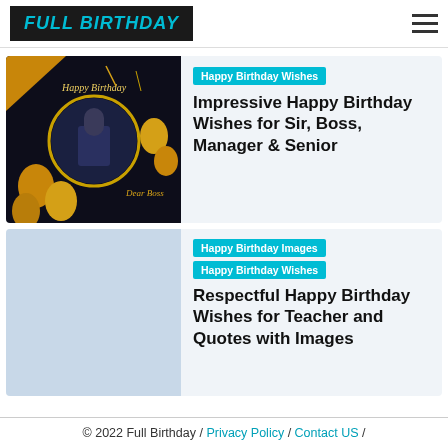FULL BIRTHDAY
[Figure (photo): Happy Birthday card image with gold balloons on dark background, circular photo frame labeled 'Dear Boss']
Happy Birthday Wishes
Impressive Happy Birthday Wishes for Sir, Boss, Manager & Senior
[Figure (photo): Light blue placeholder image for teacher birthday wishes article]
Happy Birthday Images  Happy Birthday Wishes
Respectful Happy Birthday Wishes for Teacher and Quotes with Images
© 2022 Full Birthday / Privacy Policy / Contact US /